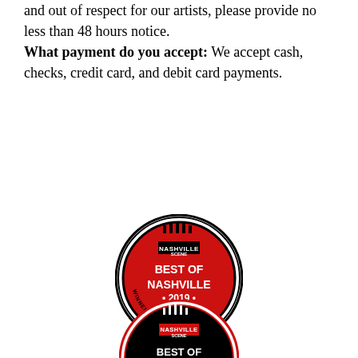and out of respect for our artists, please provide no less than 48 hours notice. What payment do you accept: We accept cash, checks, credit card, and debit card payments.
[Figure (logo): Nashville Scene Best of Nashville 2019 Winner: Readers' Poll badge — circular black border, red background, white text]
[Figure (logo): Nashville Scene Best of Nashville 2020 badge — circular black border, black background, red and white text, Presented By]